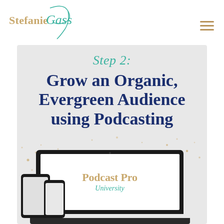Stefanie Gass
[Figure (illustration): Promotional graphic with light gray background showing 'Step 2: Grow an Organic, Evergreen Audience using Podcasting' with script teal heading, bold navy body text, gold confetti accents, and devices (laptop, tablet, phone) displaying the Podcast Pro University logo at the bottom.]